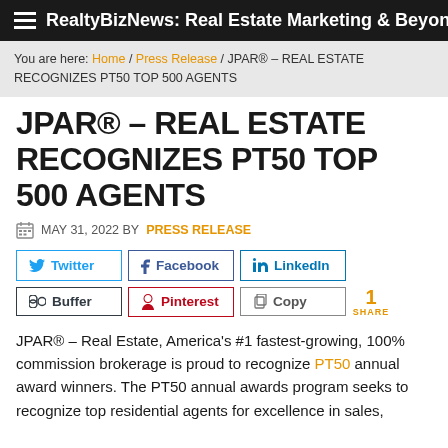RealtyBizNews: Real Estate Marketing & Beyond
You are here: Home / Press Release / JPAR® – REAL ESTATE RECOGNIZES PT50 TOP 500 AGENTS
JPAR® – REAL ESTATE RECOGNIZES PT50 TOP 500 AGENTS
MAY 31, 2022 BY PRESS RELEASE
Twitter Facebook LinkedIn Buffer Pinterest Copy 1 SHARE
JPAR® – Real Estate, America's #1 fastest-growing, 100% commission brokerage is proud to recognize PT50 annual award winners. The PT50 annual awards program seeks to recognize top residential agents for excellence in sales,